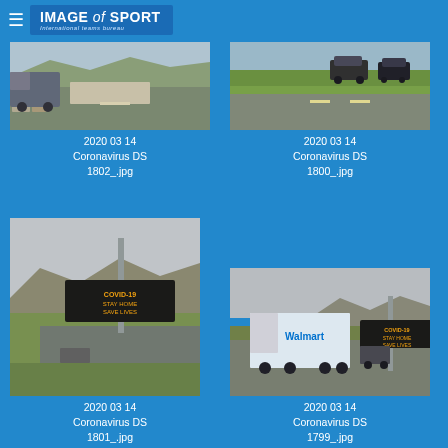IMAGE of SPORT — International teams bureau
[Figure (photo): Road scene with trucks and concrete barrier, 2020 03 14 Coronavirus DS 1802_.jpg]
2020 03 14
Coronavirus DS
1802_.jpg
[Figure (photo): Highway with cars on grass median, 2020 03 14 Coronavirus DS 1800_.jpg]
2020 03 14
Coronavirus DS
1800_.jpg
[Figure (photo): Road sign displaying COVID-19 stay home message on pole, mountains in background, 2020 03 14 Coronavirus DS 1801_.jpg]
2020 03 14
Coronavirus DS
1801_.jpg
[Figure (photo): Highway with Walmart truck and LED road sign showing COVID message, 2020 03 14 Coronavirus DS 1799_.jpg]
2020 03 14
Coronavirus DS
1799_.jpg